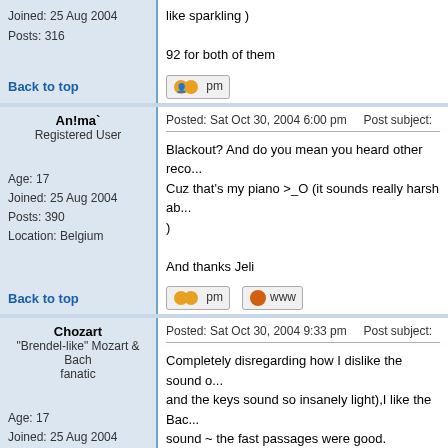Joined: 25 Aug 2004
Posts: 316
like sparkling )

92 for both of them
Back to top
An!ma`
Registered User
Posted: Sat Oct 30, 2004 6:00 pm    Post subject:

Blackout? And do you mean you heard other reco... Cuz that's my piano >_O (it sounds really harsh ab... )

And thanks Jeli
Age: 17
Joined: 25 Aug 2004
Posts: 390
Location: Belgium
Back to top
Chozart
"Brendel-like" Mozart & Bach fanatic
Posted: Sat Oct 30, 2004 9:33 pm    Post subject:

Completely disregarding how I dislike the sound o... and the keys sound so insanely light),I like the Bac... sound ~ the fast passages were good.

Same goes for the Black Key ~ it's really cool with... yar immense envy XD

Maybe it's because of your piano, but your Bach s... I've just been used to deep, pensive sound emitted... So it's interesting for me to hear it like this.. your p... Chopin though ~ the brightness of it goes well with
Age: 17
Joined: 25 Aug 2004
Posts: 818